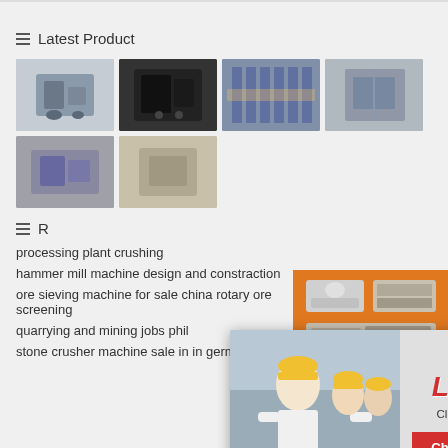Latest Product
[Figure (photo): Grid of 6 industrial machine product thumbnail photos]
R...
processing plant crushing
hammer mill machine design and constraction
ore sieving machine for sale china rotary ore screening
quarrying and mining jobs phil
stone crusher machine sale in in germany
[Figure (screenshot): Live Chat popup with photo of workers in hard hats, LIVE CHAT heading, Click for a Free Consultation text, Chat now and Chat later buttons]
[Figure (screenshot): Orange sidebar with industrial machine images, Enjoy 3% discount, Click to Chat, Enquiry, limingjlmofen@sina.com]